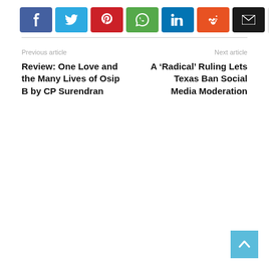[Figure (other): Social media share buttons row: Facebook (blue), Twitter (cyan), Pinterest (red), WhatsApp (green), LinkedIn (blue), Reddit (orange), Email (black), More/Plus (light grey)]
Previous article
Review: One Love and the Many Lives of Osip B by CP Surendran
Next article
A ‘Radical’ Ruling Lets Texas Ban Social Media Moderation